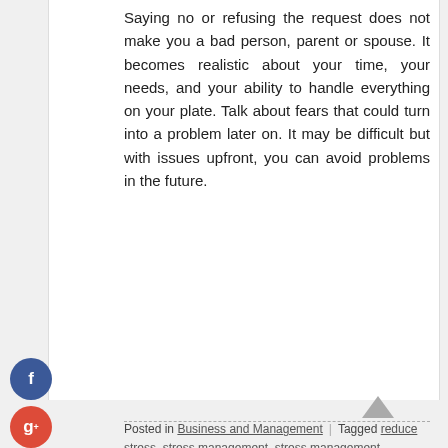Saying no or refusing the request does not make you a bad person, parent or spouse. It becomes realistic about your time, your needs, and your ability to handle everything on your plate. Talk about fears that could turn into a problem later on. It may be difficult but with issues upfront, you can avoid problems in the future.
Posted in Business and Management | Tagged reduce stress, stress management, stress management techniques